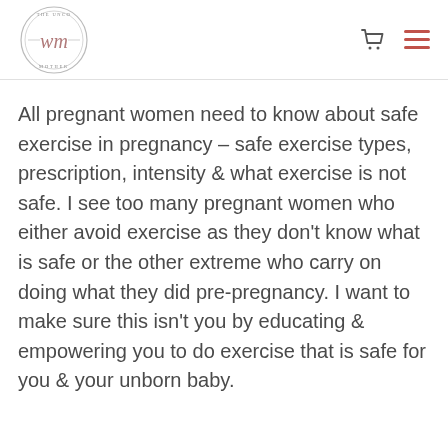The Unco Mother — logo, cart icon, hamburger menu
All pregnant women need to know about safe exercise in pregnancy – safe exercise types, prescription, intensity & what exercise is not safe. I see too many pregnant women who either avoid exercise as they don't know what is safe or the other extreme who carry on doing what they did pre-pregnancy. I want to make sure this isn't you by educating & empowering you to do exercise that is safe for you & your unborn baby.